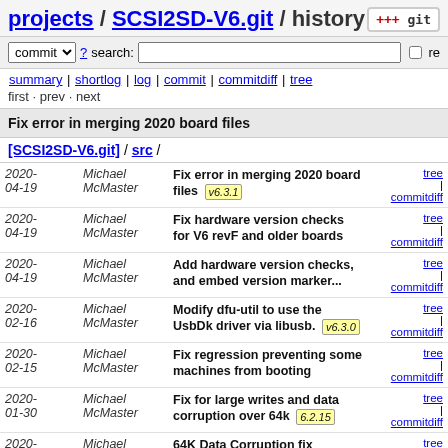projects / SCSI2SD-V6.git / history
commit ? search: re
summary | shortlog | log | commit | commitdiff | tree
first · prev · next
Fix error in merging 2020 board files
[SCSI2SD-V6.git] / src /
| Date | Author | Message | Links |
| --- | --- | --- | --- |
| 2020-04-19 | Michael McMaster | Fix error in merging 2020 board files v6.3.1 | tree | commitdiff |
| 2020-04-19 | Michael McMaster | Fix hardware version checks for V6 revF and older boards | tree | commitdiff |
| 2020-04-19 | Michael McMaster | Add hardware version checks, and embed version marker... | tree | commitdiff |
| 2020-02-16 | Michael McMaster | Modify dfu-util to use the UsbDk driver via libusb. v6.3.0 | tree | commitdiff |
| 2020-02-15 | Michael McMaster | Fix regression preventing some machines from booting | tree | commitdiff |
| 2020-01-30 | Michael McMaster | Fix for large writes and data corruption over 64k 6.2.15 | tree | commitdiff |
| 2020-01-01 | Michael McMaster | 64K Data Corruption fix v6.2.14 | tree | commitdiff |
| 2019-12-31 | Michael McMaster | Improve sync transfer stability by measuring host speed... | tree | commitdiff |